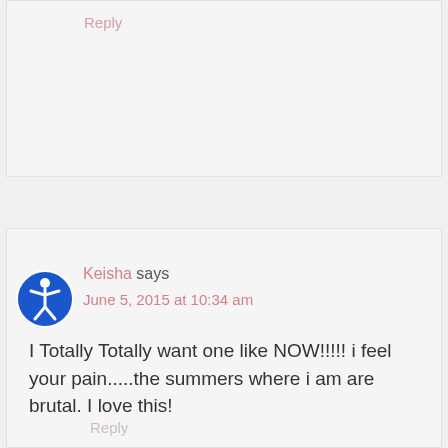Reply
Keisha says
June 5, 2015 at 10:34 am
I Totally Totally want one like NOW!!!!! i feel your pain.....the summers where i am are brutal. I love this!
Reply